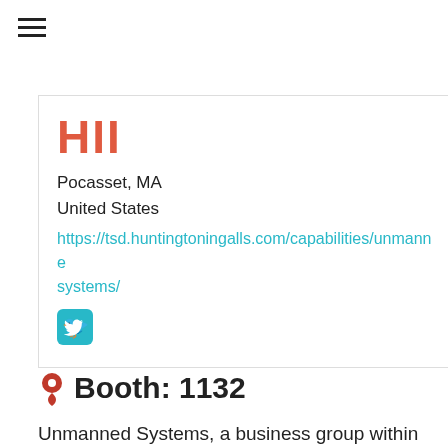[Figure (other): Hamburger menu icon (three horizontal lines)]
HII
Pocasset, MA
United States
https://tsd.huntingtoningalls.com/capabilities/unmanned-systems/
[Figure (logo): Twitter bird logo icon in blue square]
Booth: 1132
Unmanned Systems, a business group within HII's Mission Technologies division, creates advanced unmanned solutions for defense, marine research and commercial